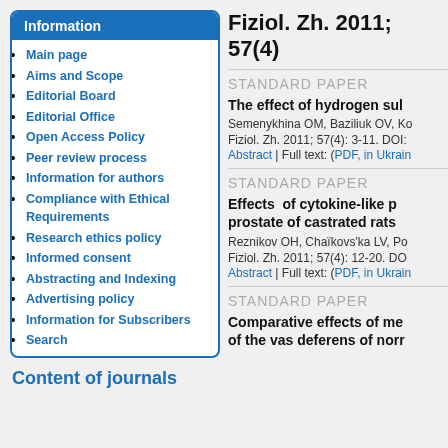Information
Main page
Aims and Scope
Editorial Board
Editorial Office
Open Access Policy
Peer review process
Information for authors
Compliance with Ethical Requirements
Research ethics policy
Informed consent
Abstracting and Indexing
Advertising policy
Information for Subscribers
Search
Content of journals
Fiziol. Zh. 2011; 57(4)
STANDARD PAPER
The effect of hydrogen sul
Semenykhina OM, Baziliuk OV, Ko
Fiziol. Zh. 2011; 57(4): 3-11. DOI:
Abstract | Full text: (PDF, in Ukrain
STANDARD PAPER
Effects of cytokine-like p prostate of castrated rats
Reznikov OH, Chaïkovs'ka LV, Po
Fiziol. Zh. 2011; 57(4): 12-20. DO
Abstract | Full text: (PDF, in Ukrain
STANDARD PAPER
Comparative effects of me of the vas deferens of norr